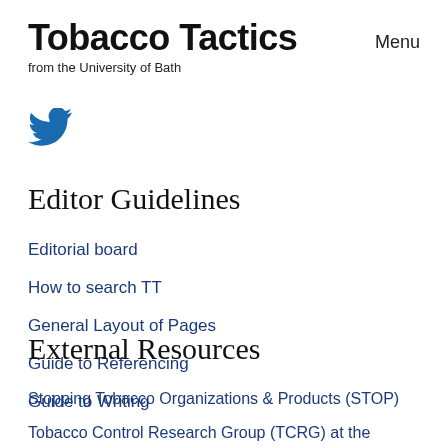Tobacco Tactics
from the University of Bath
Menu
[Figure (logo): Twitter bird icon in blue]
Editor Guidelines
Editorial board
How to search TT
General Layout of Pages
Guide to Referencing
Guide to Writing
External Resources
Stopping Tobacco Organizations & Products (STOP)
Tobacco Control Research Group (TCRG) at the